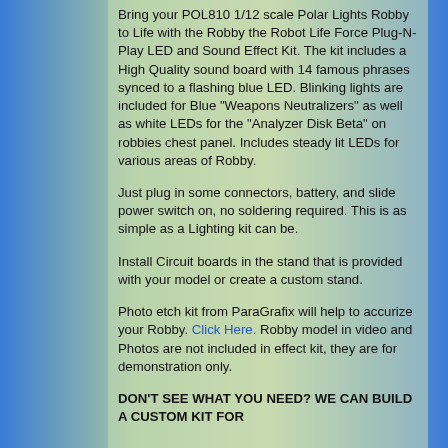Bring your POL810 1/12 scale Polar Lights Robby to Life with the Robby the Robot Life Force Plug-N-Play LED and Sound Effect Kit. The kit includes a High Quality sound board with 14 famous phrases synced to a flashing blue LED. Blinking lights are included for Blue "Weapons Neutralizers" as well as white LEDs for the "Analyzer Disk Beta" on robbies chest panel. Includes steady lit LEDs for various areas of Robby.
Just plug in some connectors, battery, and slide power switch on, no soldering required. This is as simple as a Lighting kit can be.
Install Circuit boards in the stand that is provided with your model or create a custom stand.
Photo etch kit from ParaGrafix will help to accurize your Robby. Click Here. Robby model in video and Photos are not included in effect kit, they are for demonstration only.
DON'T SEE WHAT YOU NEED? WE CAN BUILD A CUSTOM KIT FOR